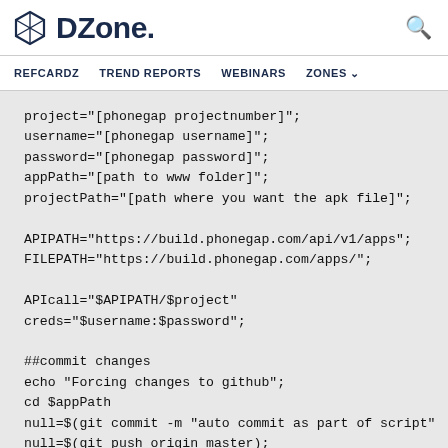DZone.
REFCARDZ   TREND REPORTS   WEBINARS   ZONES
project="[phonegap projectnumber]";
username="[phonegap username]";
password="[phonegap password]";
appPath="[path to www folder]";
projectPath="[path where you want the apk file]";

APIATH="https://build.phonegap.com/api/v1/apps";
FILEPATH="https://build.phonegap.com/apps/";

APIcall="$APIPATH/$project"
creds="$username:$password";

##commit changes
echo "Forcing changes to github";
cd $appPath
null=$(git commit -m "auto commit as part of script"
null=$(git push origin master);
echo "Done";